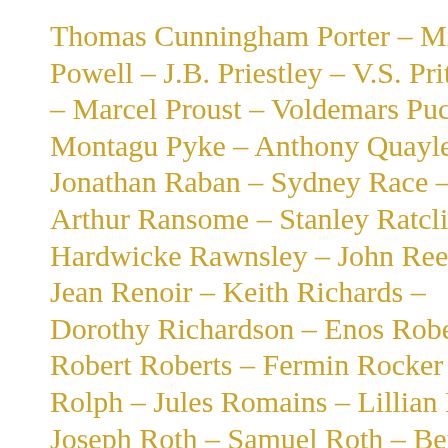Thomas Cunningham Porter – Michael Powell – J.B. Priestley – V.S. Pritchett – Marcel Proust – Voldemars Puce – Montagu Pyke – Anthony Quayle – Jonathan Raban – Sydney Race – Arthur Ransome – Stanley Ratcliff – Hardwicke Rawnsley – John Reed – Jean Renoir – Keith Richards – Dorothy Richardson – Enos Roberts – Robert Roberts – Fermin Rocker – C.H. Rolph – Jules Romains – Lillian Ross – Joseph Roth – Samuel Roth – Bertrand Russell – Edward W. Said – Jean-Paul Sartre – Siegfried Sassoon – Vernon